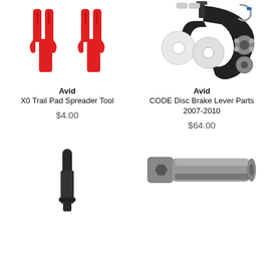[Figure (photo): Two red plastic X0 Trail Pad Spreader Tool pieces]
Avid
X0 Trail Pad Spreader Tool
$4.00
[Figure (photo): CODE Disc Brake Lever Parts including screws, washers, bearings, and lever hardware]
Avid
CODE Disc Brake Lever Parts 2007-2010
$64.00
[Figure (photo): A small dark metallic pin/bolt tool]
[Figure (photo): A grey hexagonal socket tool]